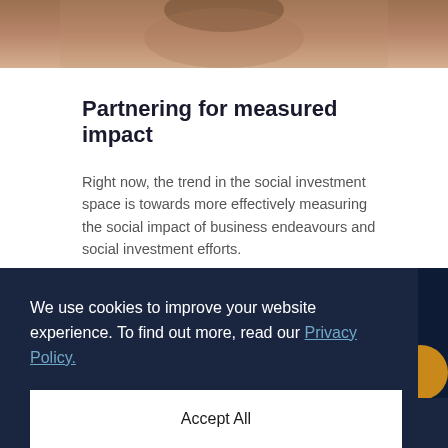[Figure (photo): Cropped photo of a person, warm brown tones, top portion of face/head visible]
Partnering for measured impact
Right now, the trend in the social investment space is towards more effectively measuring the social impact of business endeavours and social investment efforts.
READ MORE »
We use cookies to improve your website experience. To find out more, read our Privacy Policy.
Accept All
[Figure (screenshot): Small preview of a chart/infographic in bottom bar]